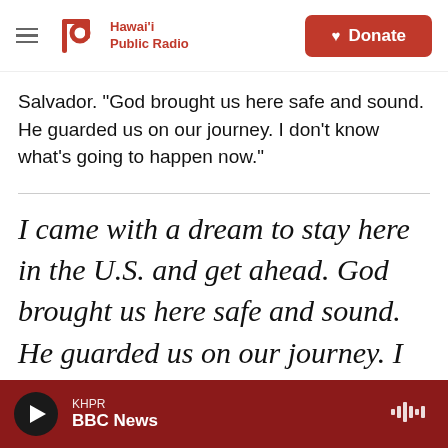Hawai'i Public Radio — Donate
Salvador. "God brought us here safe and sound. He guarded us on our journey. I don't know what's going to happen now."
I came with a dream to stay here in the U.S. and get ahead. God brought us here safe and sound. He guarded us on our journey. I don't know what's going to happen now.
KHPR — BBC News